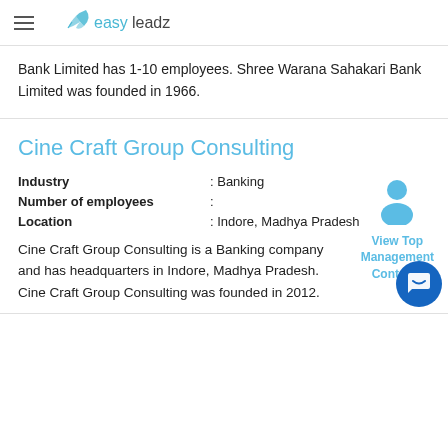easy leadz
Bank Limited has 1-10 employees. Shree Warana Sahakari Bank Limited was founded in 1966.
Cine Craft Group Consulting
| Field | Value |
| --- | --- |
| Industry | : Banking |
| Number of employees | : |
| Location | : Indore, Madhya Pradesh |
View Top Management Contacts
Cine Craft Group Consulting is a Banking company and has headquarters in Indore, Madhya Pradesh. Cine Craft Group Consulting was founded in 2012.